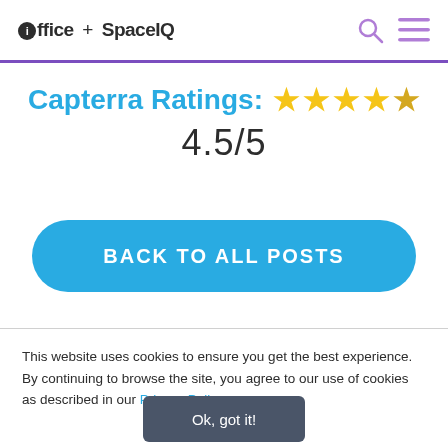office + SpaceIQ
Capterra Ratings: ★★★★☆ 4.5/5
BACK TO ALL POSTS
This website uses cookies to ensure you get the best experience. By continuing to browse the site, you agree to our use of cookies as described in our Privacy Policy.
Ok, got it!